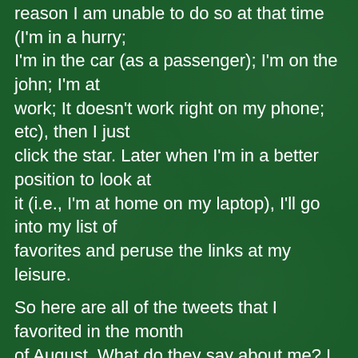reason I am unable to do so at that time (I'm in a hurry; I'm in the car (as a passenger); I'm on the john; I'm at work; It doesn't work right on my phone; etc), then I just click the star. Later when I'm in a better position to look at it (i.e., I'm at home on my laptop), I'll go into my list of favorites and peruse the links at my leisure.
So here are all of the tweets that I favorited in the month of August. What do they say about me? I have no idea. They are presented without comment:
[blackbirdpie url="http://twitter.com/#!/Mike_Eagle/status/98615008438652...
[blackbirdpie url="http://twitter.com/#!/Mike_Eagle/status/100053582237280...
[blackbirdpie url="http://twitter.com/#!/godlessgirl/status/1009845662983200...
[blackbirdpie url="http://twitter.com/#!/CityofTacoma/status/101044995854...